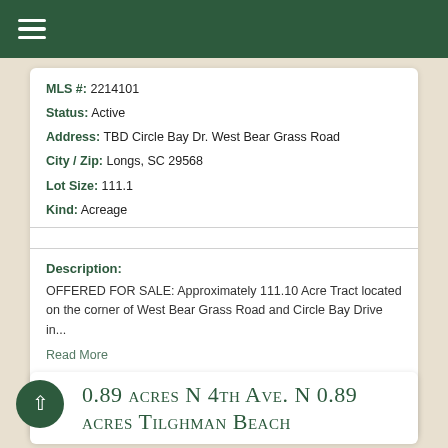☰ (hamburger menu)
MLS #: 2214101
Status: Active
Address: TBD Circle Bay Dr. West Bear Grass Road
City / Zip: Longs, SC 29568
Lot Size: 111.1
Kind: Acreage
Description:
OFFERED FOR SALE: Approximately 111.10 Acre Tract located on the corner of West Bear Grass Road and Circle Bay Drive in...
Read More
DETAILS   FAVORITE
0.89 acres N 4th Ave. N 0.89 acres Tilghman Beach